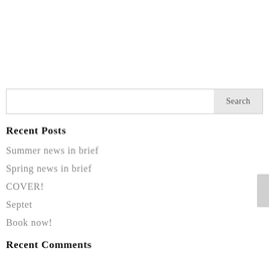Recent Posts
Summer news in brief
Spring news in brief
COVER!
Septet
Book now!
Recent Comments